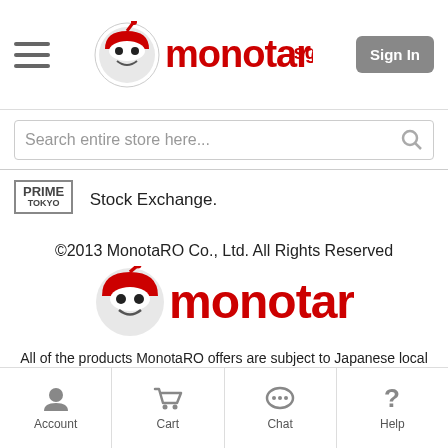monotaro.sg — Sign In
Search entire store here...
[Figure (logo): Prime Tokyo badge logo]
Stock Exchange.
©2013 MonotaRO Co., Ltd. All Rights Reserved
[Figure (logo): MonotaRO logo — red text with mascot icon]
All of the products MonotaRO offers are subject to Japanese local laws, regulations, and certification standards. Please make sure that it may or may not meet requirements of your country and/or international organizations, including but not limited to, UL Certification, China Compulsory Certificate system, and Halal. MonotaRO Co. Ltd. Hyogo Public Safety Commission No.631330800020
Account  Cart  Chat  Help